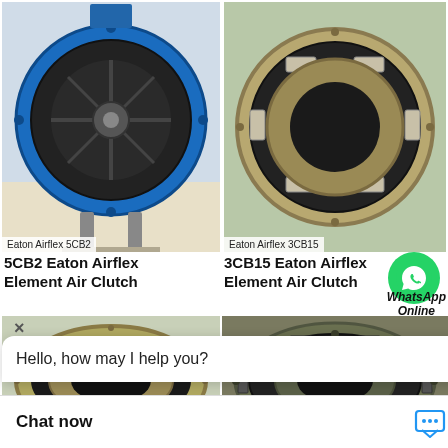[Figure (photo): Eaton Airflex 5CB2 air clutch element, large blue ring with black interior, photographed from front]
Eaton Airflex 5CB2
[Figure (photo): Eaton Airflex 3CB15 air clutch element, tan/gold colored ring with segmented friction pads]
Eaton Airflex 3CB15
5CB2 Eaton Airflex Element Air Clutch
3CB15 Eaton Airflex Element Air Clutch
[Figure (photo): Eaton Airflex air clutch element, gold/tan colored, viewed from side]
[Figure (photo): Eaton Airflex 40CB525 large air clutch element, olive/army green color, viewed from angle]
rflex 40CB525
Hello, how may I help you?
WhatsApp Online
Chat now